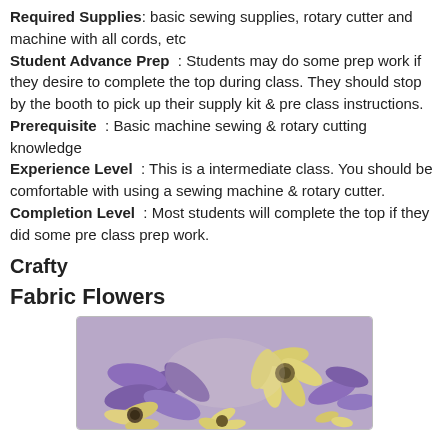Required Supplies: basic sewing supplies, rotary cutter and machine with all cords, etc
Student Advance Prep : Students may do some prep work if they desire to complete the top during class. They should stop by the booth to pick up their supply kit & pre class instructions.
Prerequisite : Basic machine sewing & rotary cutting knowledge
Experience Level : This is a intermediate class. You should be comfortable with using a sewing machine & rotary cutter.
Completion Level : Most students will complete the top if they did some pre class prep work.
Crafty
Fabric Flowers
[Figure (photo): Photo of fabric flowers — yellow and purple cloth flowers arranged together]